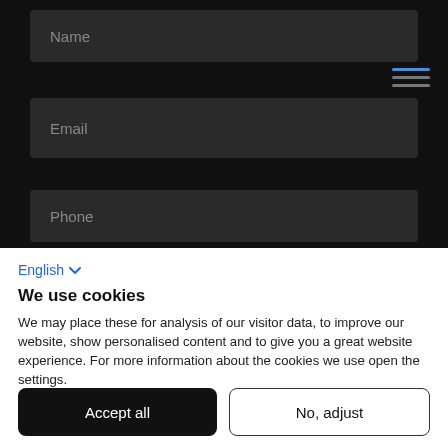[Figure (screenshot): Dark-themed web form with Name, Email, and Phone input fields on a black background, with a hamburger menu icon in the upper right area]
English
We use cookies
We may place these for analysis of our visitor data, to improve our website, show personalised content and to give you a great website experience. For more information about the cookies we use open the settings.
Accept all
No, adjust